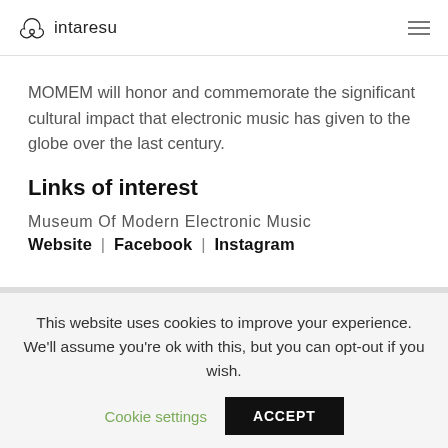intaresu
MOMEM will honor and commemorate the significant cultural impact that electronic music has given to the globe over the last century.
Links of interest
Museum Of Modern Electronic Music
Website | Facebook | Instagram
This website uses cookies to improve your experience. We'll assume you're ok with this, but you can opt-out if you wish.
Cookie settings   ACCEPT